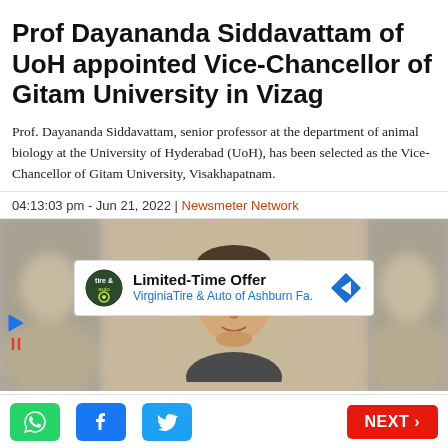Prof Dayananda Siddavattam of UoH appointed Vice-Chancellor of Gitam University in Vizag
Prof. Dayananda Siddavattam, senior professor at the department of animal biology at the University of Hyderabad (UoH), has been selected as the Vice-Chancellor of Gitam University, Visakhapatnam.
04:13:03 pm - Jun 21, 2022 | Newsmeter Network
[Figure (photo): Photo of Prof. Dayananda Siddavattam, a middle-aged man with glasses and short grey-black hair, shown in a banner with blurred images on left and right sides]
[Figure (infographic): Advertisement banner: Limited-Time Offer - Virginia Tire & Auto of Ashburn Fa.]